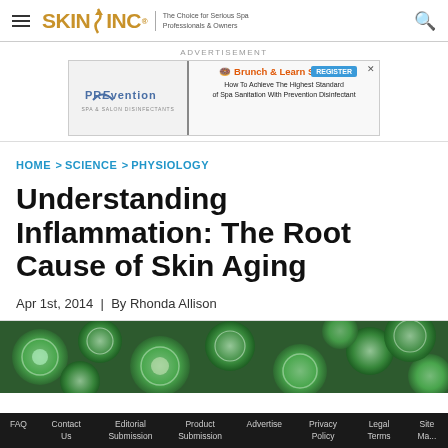SKIN INC. The Choice for Serious Spa Professionals & Owners
[Figure (screenshot): Advertisement banner for PREvention Spa & Salon Disinfectants - Brunch & Learn Series, How To Achieve The Highest Standard of Spa Sanitation With Prevention Disinfectants. REGISTER button shown.]
HOME > SCIENCE > PHYSIOLOGY
Understanding Inflammation: The Root Cause of Skin Aging
Apr 1st, 2014 | By Rhonda Allison
[Figure (photo): Close-up photograph of green cells or plant matter with circular structures visible]
FAQ | Contact Us | Editorial Submission | Product Submission | Advertise | Privacy Policy | Legal Terms | Site Ma...